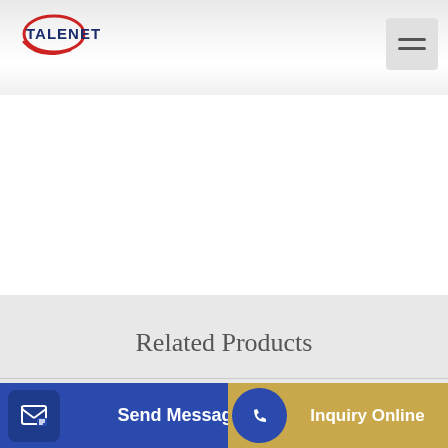[Figure (logo): TALENET company logo with red oval swirl and bold blue text]
Related Products
TOBEMAC JZM350 concrete mixer in srilanka
DK Concrete Pumping
M9 38
Send Message
Inquiry Online